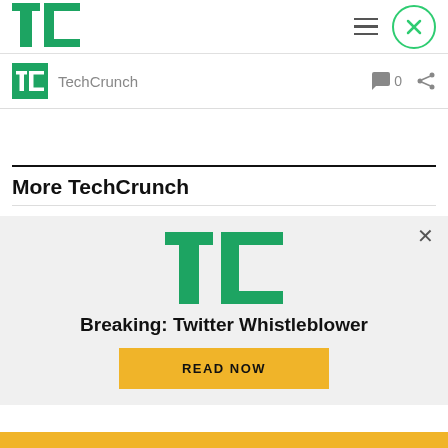[Figure (logo): TechCrunch TC logo in top navigation bar]
[Figure (logo): TechCrunch TC small icon in channel row]
TechCrunch
0
More TechCrunch
[Figure (logo): TechCrunch TC large logo in advertisement banner]
Breaking: Twitter Whistleblower
READ NOW